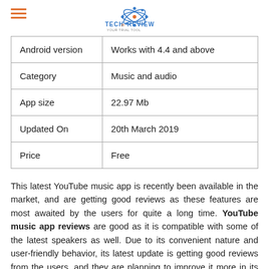TechInReview
| Android version | Works with 4.4 and above |
| Category | Music and audio |
| App size | 22.97 Mb |
| Updated On | 20th March 2019 |
| Price | Free |
This latest YouTube music app is recently been available in the market, and are getting good reviews as these features are most awaited by the users for quite a long time. YouTube music app reviews are good as it is compatible with some of the latest speakers as well. Due to its convenient nature and user-friendly behavior, its latest update is getting good reviews from the users, and they are planning to improve it more in its next update.